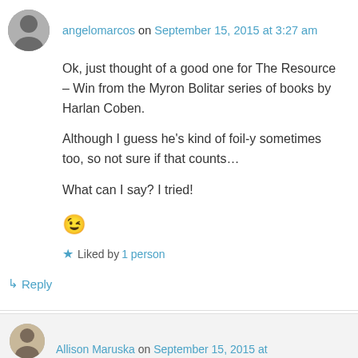angelomarcos on September 15, 2015 at 3:27 am
Ok, just thought of a good one for The Resource – Win from the Myron Bolitar series of books by Harlan Coben.
Although I guess he's kind of foil-y sometimes too, so not sure if that counts…
What can I say? I tried!
😉
★ Liked by 1 person
↳ Reply
Allison Maruska on September 15, 2015 at